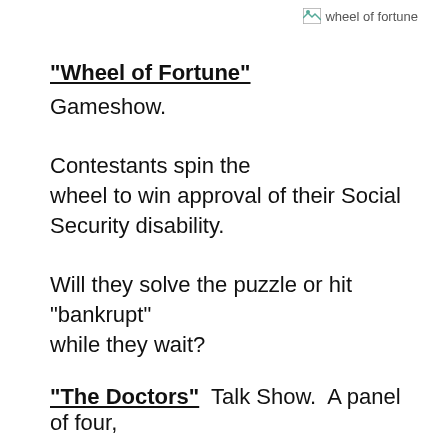[Figure (other): Broken image placeholder labeled 'wheel of fortune' in top right corner]
“Wheel of Fortune”
Gameshow.

Contestants spin the wheel to win approval of their Social Security disability.

Will they solve the puzzle or hit “bankrupt” while they wait?
“The Doctors”  Talk Show.  A panel of four,